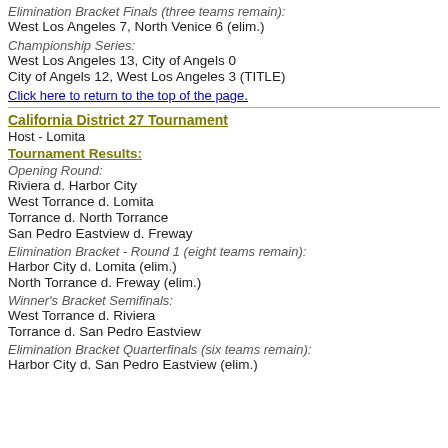Elimination Bracket Finals (three teams remain):
West Los Angeles 7, North Venice 6 (elim.)
Championship Series:
West Los Angeles 13, City of Angels 0
City of Angels 12, West Los Angeles 3 (TITLE)
Click here to return to the top of the page.
California District 27 Tournament
Host - Lomita
Tournament Results:
Opening Round:
Riviera d. Harbor City
West Torrance d. Lomita
Torrance d. North Torrance
San Pedro Eastview d. Freway
Elimination Bracket - Round 1 (eight teams remain):
Harbor City d. Lomita (elim.)
North Torrance d. Freway (elim.)
Winner's Bracket Semifinals:
West Torrance d. Riviera
Torrance d. San Pedro Eastview
Elimination Bracket Quarterfinals (six teams remain):
Harbor City d. San Pedro Eastview (elim.)